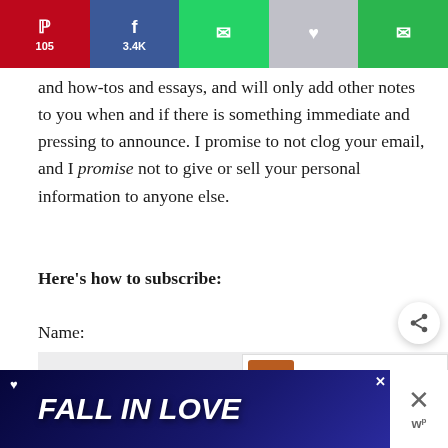[Figure (screenshot): Social share bar with Pinterest (105), Facebook (3.4K), WhatsApp, Heart, and Email buttons]
and how-tos and essays, and will only add other notes to you when and if there is something immediate and pressing to announce. I promise to not clog your email, and I promise not to give or sell your personal information to anyone else.
Here’s how to subscribe:
Name:
[Figure (screenshot): Share floating button with share icon]
[Figure (screenshot): What's Next panel showing 'How to Smoke Salmon' with thumbnail]
[Figure (screenshot): Ad banner reading FALL IN LOVE with dog image and close buttons]